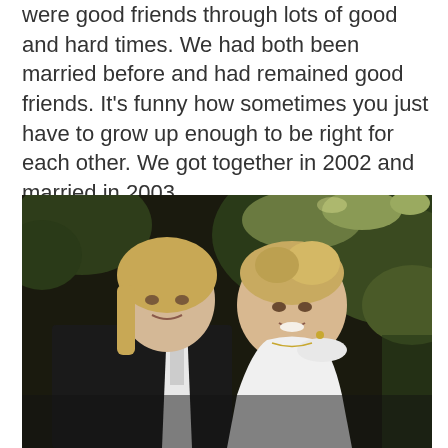were good friends through lots of good and hard times. We had both been married before and had remained good friends. It's funny how sometimes you just have to grow up enough to be right for each other. We got together in 2002 and married in 2003.
[Figure (photo): Wedding photo of a couple. A man with shoulder-length blond hair wearing a dark suit and white shirt stands beside a woman with upswept blond hair wearing a white off-shoulder dress. They are posed closely together outdoors with green trees in the background.]